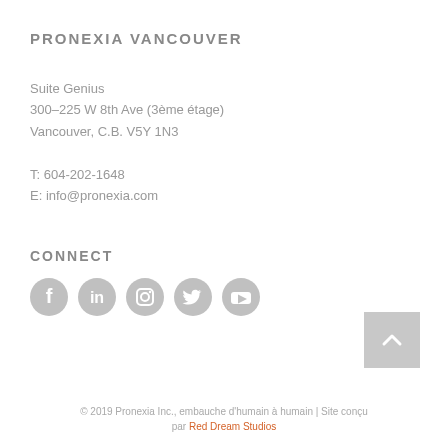PRONEXIA VANCOUVER
Suite Genius
300–225 W 8th Ave (3ème étage)
Vancouver, C.B. V5Y 1N3

T: 604-202-1648
E: info@pronexia.com
CONNECT
[Figure (illustration): Five circular social media icons in gray: Facebook, LinkedIn, Instagram, Twitter, YouTube]
[Figure (illustration): Gray square back-to-top button with white upward chevron arrow]
© 2019 Pronexia Inc., embauche d'humain à humain | Site conçu par Red Dream Studios